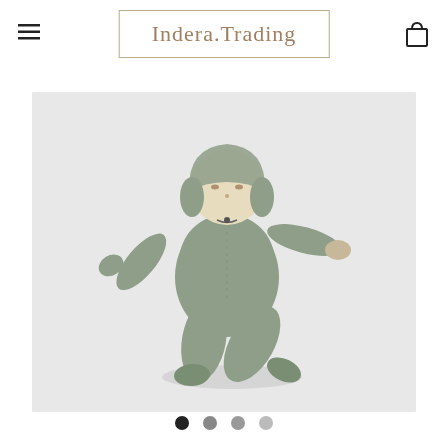Indera.Trading
[Figure (photo): A soft stuffed doll wearing a sage green hooded onesie/jumpsuit, photographed floating against a light grey background. The doll has a cream-colored face with simple features and outstretched arms and legs.]
Carousel navigation dots: 4 dots, first dot active (dark), remaining dots grey